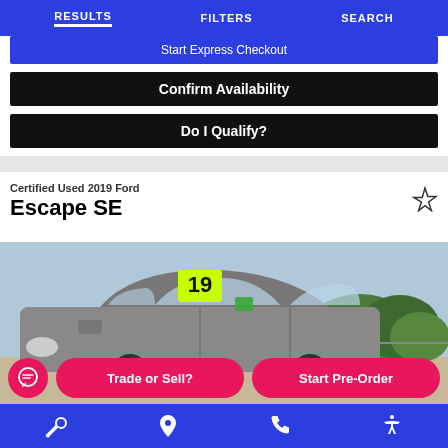RESULTS   FILTERS   SEARCH
Start Express Checkout
Confirm Availability
Do I Qualify?
Certified Used 2019 Ford
Escape SE
[Figure (photo): 2019 Ford Escape SE silver SUV on a dealership lot with yellow '19' price tag in the windshield, trees in background]
Trade or Sell?   Start Pre-Order
Wrench icon, Location pin icon, Phone icon, Accessibility icon